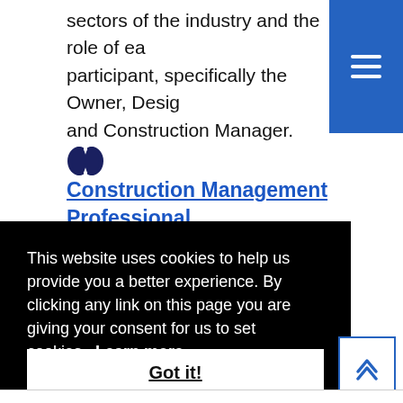sectors of the industry and the role of each participant, specifically the Owner, Designer and Construction Manager.
[Figure (illustration): Brain icon in dark navy blue color]
Construction Management Professional Certificate,
This website uses cookies to help us provide you a better experience. By clicking any link on this page you are giving your consent for us to set cookies. Learn more
Got it!